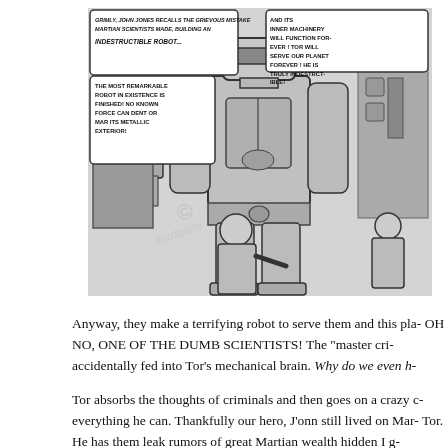[Figure (illustration): Black and white comic panel showing a large robot named TOR standing in a lab surrounded by Martian scientists. Speech bubbles read: 'GRIMLY, JOHN JONES RECALLS THE GRIEVOUS MISTAKE MARTIAN SCIENTISTS MADE, BUILDING AN INDESTRUCTIBLE ROBOT...' and 'AND ITS INNER MACHINERY WILL FUNCTION FOREVER! TOR WILL SERVE OUR PLANET FOREVER! HE IS TRULY INDESTRUCTIBLE!' and 'THE MOST REMARKABLE ROBOT IN EXISTENCE IS FINISHED! NO KNOWN FORCE CAN DENT OR MAR ITS METALLIC EXTERIOR!']
Anyway, they make a terrifying robot to serve them and this pla- OH NO, ONE OF THE DUMB SCIENTISTS! The “master cri- accidentally fed into Tor’s mechanical brain. Why do we even h-
Tor absorbs the thoughts of criminals and then goes on a crazy c- everything he can. Thankfully our hero, J’onn still lived on Mar- Tor. He has them leak rumors of great Martian wealth hidden I g-